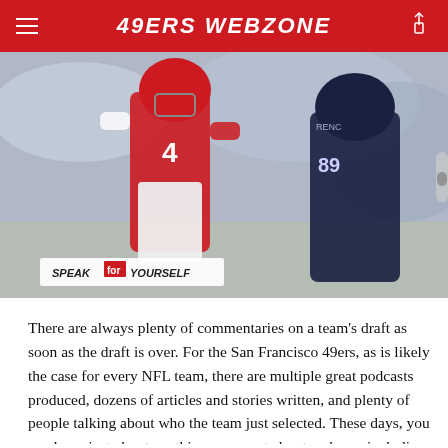49ERS WEBZONE
[Figure (photo): Football player wearing red jersey (number 4) being tackled by a player in a dark navy jersey with number visible. Action shot from a game. 'SPEAK FOR YOURSELF' logo overlay in lower left.]
There are always plenty of commentaries on a team's draft as soon as the draft is over. For the San Francisco 49ers, as is likely the case for every NFL team, there are multiple great podcasts produced, dozens of articles and stories written, and plenty of people talking about who the team just selected. These days, you can learn just about anything you want about a player, including watching videos of highlights from his collegiate career.